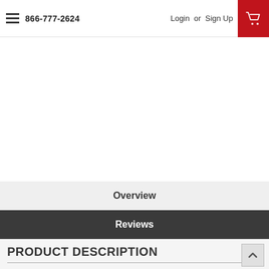866-777-2624  Login or Sign Up
Overview
Reviews
PRODUCT DESCRIPTION
5" X 3/8" Knock Down Targets - (4 Pack)